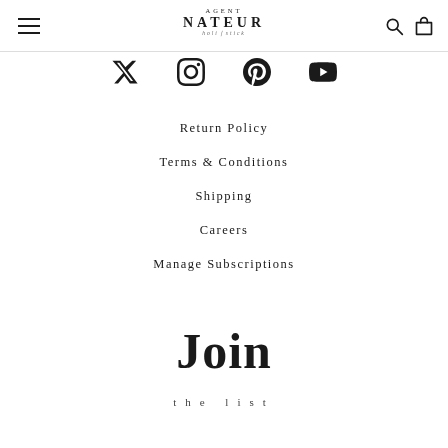Agent Nateur holi:stick navigation header with hamburger menu, logo, search and cart icons
[Figure (other): Social media icons row: Twitter/X, Instagram, Pinterest, YouTube]
Return Policy
Terms & Conditions
Shipping
Careers
Manage Subscriptions
Join
the list